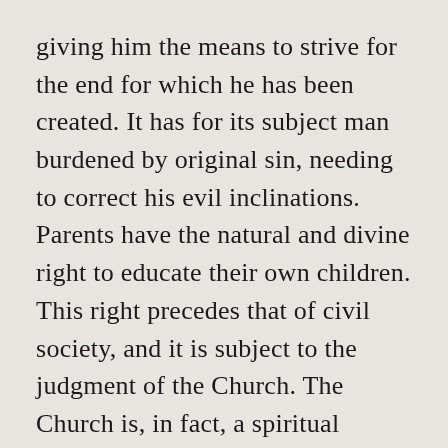giving him the means to strive for the end for which he has been created. It has for its subject man burdened by original sin, needing to correct his evil inclinations. Parents have the natural and divine right to educate their own children. This right precedes that of civil society, and it is subject to the judgment of the Church. The Church is, in fact, a spiritual mother who
We use cookies on our website to give you the most relevant experience by remembering your preferences and repeat visits. By clicking “Accept All”, you consent to the use of ALL the cookies. However, you may visit "Cookie Settings" to provide a controlled consent.